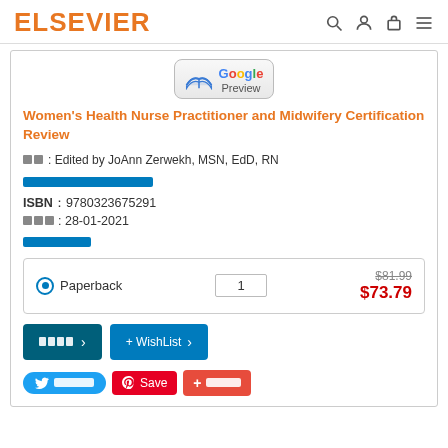ELSEVIER
[Figure (logo): Google Preview button with book icon]
Women's Health Nurse Practitioner and Midwifery Certification Review
Edited by JoAnn Zerwekh, MSN, EdD, RN
[link: author listing]
ISBN: 9780323675291
Date: 28-01-2021
[link: more info]
| Format | Qty | Price |
| --- | --- | --- |
| Paperback | 1 | $73.79 (was $81.99) |
[Add to Cart button] [+ WishList button]
[Twitter share] [Pinterest Save] [+ share]